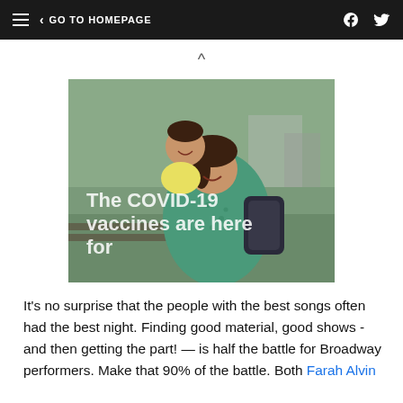GO TO HOMEPAGE
[Figure (photo): A smiling woman holding a laughing baby/toddler outdoors in a park setting. Overlaid text reads: 'The COVID-19 vaccines are here for']
It's no surprise that the people with the best songs often had the best night. Finding good material, good shows - and then getting the part! — is half the battle for Broadway performers. Make that 90% of the battle. Both Farah Alvin